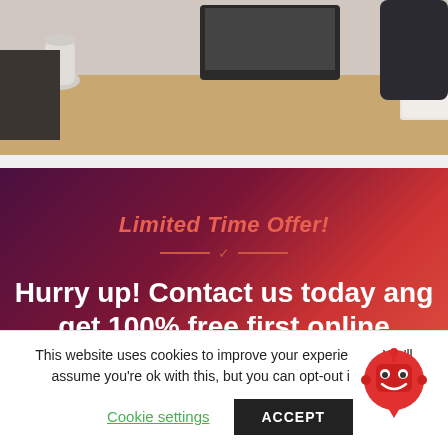[Figure (photo): Office desk with keyboard, monitor, notebooks, and office supplies on a wooden desk]
Limited Time Offer!
Hurry up! Contact us today ang get 100% free first online
This website uses cookies to improve your experience. We'll assume you're ok with this, but you can opt-out if you wish.
Cookie settings   ACCEPT